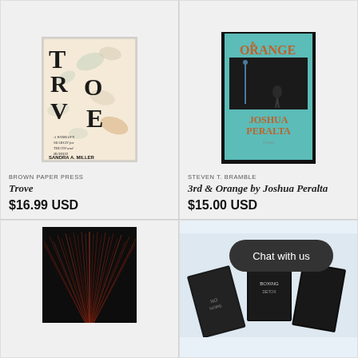[Figure (illustration): Book cover for Trove by Sandra A. Miller - cream background with footprint shapes and letters spelling TROVE, subtitle 'A Woman's Search for Truth and Buried Treasure']
BROWN PAPER PRESS
Trove
$16.99 USD
[Figure (illustration): Book cover for 3rd & Orange by Joshua Peralta - teal/turquoise background with black illustration of person and orange text reading ORANGE and JOSHUA PERALTA]
STEVEN T. BRAMBLE
3rd & Orange by Joshua Peralta
$15.00 USD
[Figure (illustration): Dark book cover with circular radiating pattern in dark red/maroon]
[Figure (illustration): Book covers fanned out with Chat with us bubble overlay]